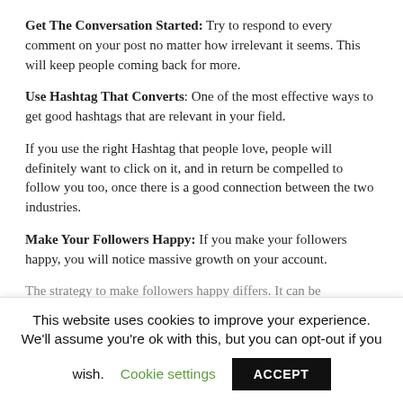Get The Conversation Started: Try to respond to every comment on your post no matter how irrelevant it seems. This will keep people coming back for more.
Use Hashtag That Converts: One of the most effective ways to get good hashtags that are relevant in your field.
If you use the right Hashtag that people love, people will definitely want to click on it, and in return be compelled to follow you too, once there is a good connection between the two industries.
Make Your Followers Happy: If you make your followers happy, you will notice massive growth on your account.
The strategy to make followers happy differs. It can be
This website uses cookies to improve your experience. We'll assume you're ok with this, but you can opt-out if you wish. Cookie settings ACCEPT